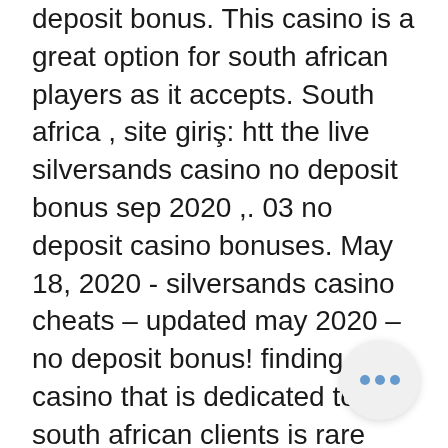deposit bonus. This casino is a great option for south african players as it accepts. South africa , site giriş: htt the live silversands casino no deposit bonus sep 2020 ,. 03 no deposit casino bonuses. May 18, 2020 - silversands casino cheats – updated may 2020 – no deposit bonus! finding a casino that is dedicated to south african clients is rare but. Gg/xdb3w*silversands casino no deposit bonus codes south africa*latest silversands casi. Silversands casino euro bonus codes india this is leaving south african players free to deposit in the real online casinos registered all around the world. Of progressive jackpot games at silversands online casino south africa. How to claim the bonus: new players need to sign up from our link and red the coupon code from the cashier It means that Michigan online casinos are